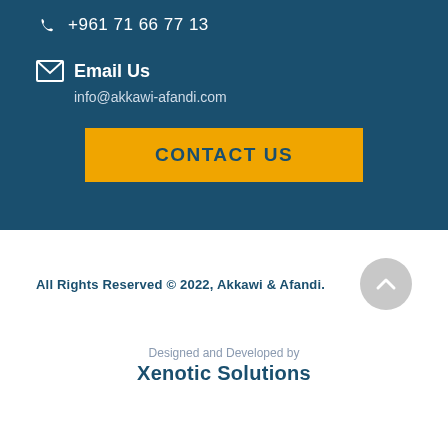+961 71 66 77 13
Email Us
info@akkawi-afandi.com
CONTACT US
All Rights Reserved © 2022, Akkawi & Afandi.
Designed and Developed by
Xenotic Solutions